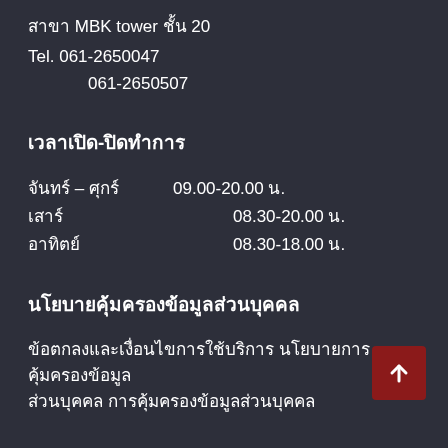สาขา MBK tower ชั้น 20
Tel. 061-2650047
061-2650507
เวลาเปิด-ปิดทำการ
จันทร์ – ศุกร์  09.00-20.00 น.
เสาร์              08.30-20.00 น.
อาทิตย์           08.30-18.00 น.
นโยบายคุ้มครองข้อมูลส่วนบุคคล
ข้อตกลงและเงื่อนไขการใช้บริการ  นโยบายการคุ้มครองข้อมูลส่วนบุคคล  การคุ้มครองข้อมูลส่วนบุคคล
SOCIAL MEDIA